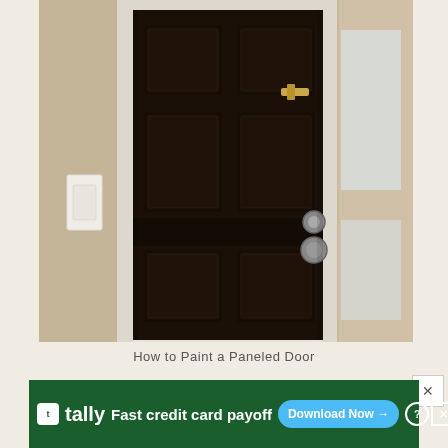[Figure (photo): A dark brown/black six-panel interior door in a white door frame, photographed from inside a room with beige walls. The door has brass chain lock at the top and a silver deadbolt and handle set on the right side. A light switch plate is visible on the left wall.]
How to Paint a Paneled Door
[Figure (screenshot): Advertisement banner for Tally app. Green background with Tally logo and text 'Fast credit card payoff' with a Download Now button and close/info icons.]